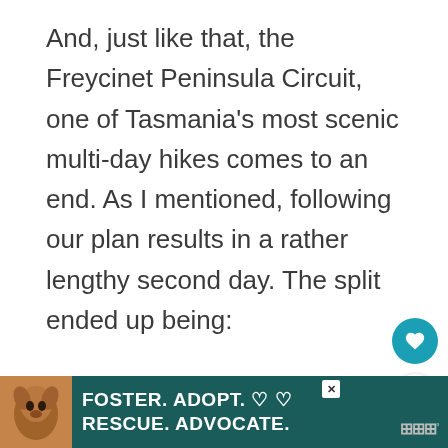And, just like that, the Freycinet Peninsula Circuit, one of Tasmania's most scenic multi-day hikes comes to an end. As I mentioned, following our plan results in a rather lengthy second day. The split ended up being:
[Figure (other): A placeholder/loading content area with three small gray dots at the bottom center, indicating an advertisement or embedded content that has not loaded.]
[Figure (other): A teal circular floating action button with a white heart icon (like/save button).]
[Figure (other): A white circular floating action button with a teal share/network icon.]
[Figure (other): A dark teal advertisement banner at the bottom of the page with a dog photo on the left and the text 'FOSTER. ADOPT. RESCUE. ADVOCATE.' in white bold letters, with heart symbols, an X close button, and a Wordmark watermark on the right.]